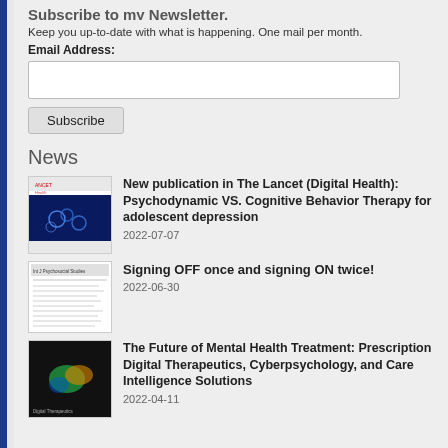Keep you up-to-date with what is happening. One mail per month.
Email Address:
Subscribe
News
New publication in The Lancet (Digital Health): Psychodynamic VS. Cognitive Behavior Therapy for adolescent depression
2022-07-07
Signing OFF once and signing ON twice!
2022-06-30
The Future of Mental Health Treatment: Prescription Digital Therapeutics, Cyberpsychology, and Care Intelligence Solutions
2022-04-11